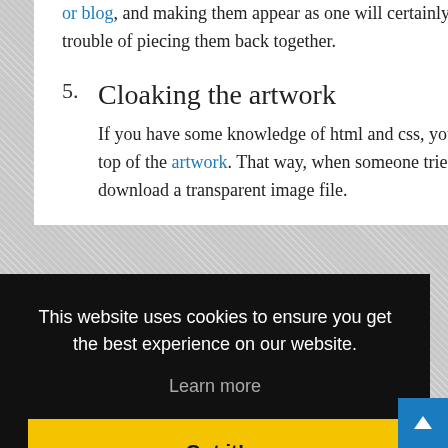or blog, and making them appear as one will certainly deter most from going through the trouble of piecing them back together.
5. Cloaking the artwork
If you have some knowledge of html and css, you can place a transparent gif right on top of the artwork. That way, when someone tries to copy and paste, they simply download a transparent image file.
[Figure (screenshot): Cookie consent banner overlay with black background. Text: 'This website uses cookies to ensure you get the best experience on our website. Learn more'. Yellow 'Got it!' button.]
interferes